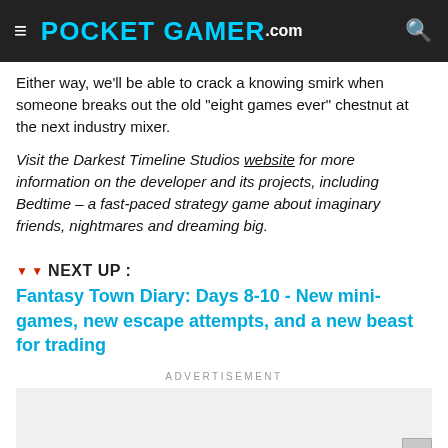POCKET GAMER.com
Either way, we'll be able to crack a knowing smirk when someone breaks out the old "eight games ever" chestnut at the next industry mixer.
Visit the Darkest Timeline Studios website for more information on the developer and its projects, including Bedtime – a fast-paced strategy game about imaginary friends, nightmares and dreaming big.
NEXT UP :
Fantasy Town Diary: Days 8-10 - New mini-games, new escape attempts, and a new beast for trading
ADVERTISEMENT